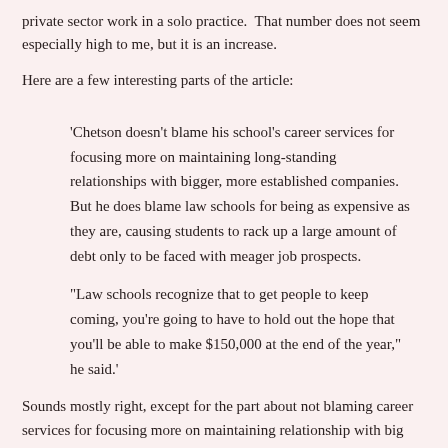private sector work in a solo practice.  That number does not seem especially high to me, but it is an increase.
Here are a few interesting parts of the article:
'Chetson doesn’t blame his school’s career services for focusing more on maintaining long-standing relationships with bigger, more established companies. But he does blame law schools for being as expensive as they are, causing students to rack up a large amount of debt only to be faced with meager job prospects.
“Law schools recognize that to get people to keep coming, you’re going to have to hold out the hope that you’ll be able to make $150,000 at the end of the year,” he said.'
Sounds mostly right, except for the part about not blaming career services for focusing more on maintaining relationship with big